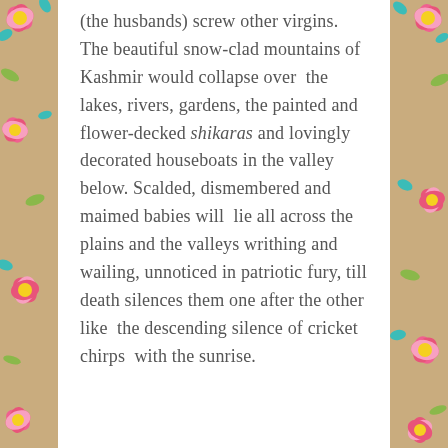(the husbands) screw other virgins. The beautiful snow-clad mountains of Kashmir would collapse over the lakes, rivers, gardens, the painted and flower-decked shikaras and lovingly decorated houseboats in the valley below. Scalded, dismembered and maimed babies will lie all across the plains and the valleys writhing and wailing, unnoticed in patriotic fury, till death silences them one after the other like the descending silence of cricket chirps with the sunrise.